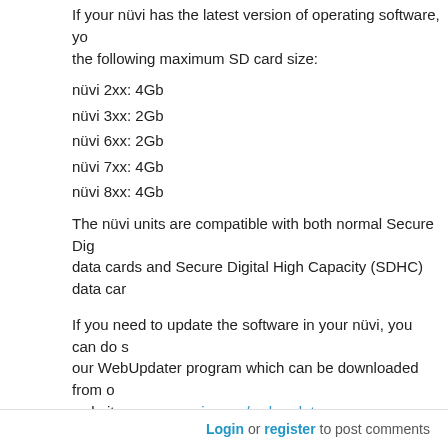If your nüvi has the latest version of operating software, you can use the following maximum SD card size:
nüvi 2xx: 4Gb
nüvi 3xx: 2Gb
nüvi 6xx: 2Gb
nüvi 7xx: 4Gb
nüvi 8xx: 4Gb
The nüvi units are compatible with both normal Secure Digital data cards and Secure Digital High Capacity (SDHC) data cards.
If you need to update the software in your nüvi, you can do so using our WebUpdater program which can be downloaded from our website: www.garmin.com/webupdater
Last modified on: 08/26/2008
source:
http://www.garmin.com/garmin/cms/cache/offonce/us/sup
what is in fact the good answer
Thanks
Login or register to post comments